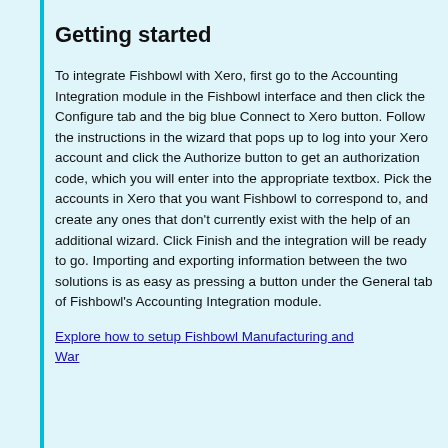Getting started
To integrate Fishbowl with Xero, first go to the Accounting Integration module in the Fishbowl interface and then click the Configure tab and the big blue Connect to Xero button. Follow the instructions in the wizard that pops up to log into your Xero account and click the Authorize button to get an authorization code, which you will enter into the appropriate textbox. Pick the accounts in Xero that you want Fishbowl to correspond to, and create any ones that don't currently exist with the help of an additional wizard. Click Finish and the integration will be ready to go. Importing and exporting information between the two solutions is as easy as pressing a button under the General tab of Fishbowl's Accounting Integration module.
Explore how to setup Fishbowl Manufacturing and Warehouse